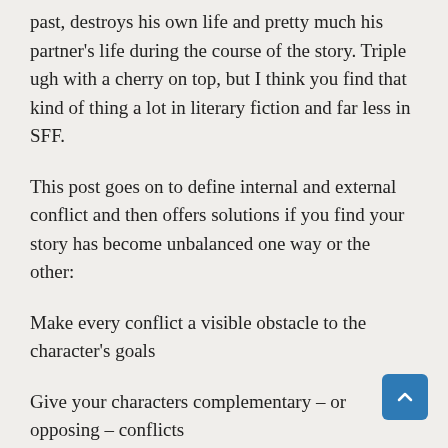past, destroys his own life and pretty much his partner's life during the course of the story. Triple ugh with a cherry on top, but I think you find that kind of thing a lot in literary fiction and far less in SFF.
This post goes on to define internal and external conflict and then offers solutions if you find your story has become unbalanced one way or the other:
Make every conflict a visible obstacle to the character's goals
Give your characters complementary – or opposing – conflicts
Make your conflicts iconic
To me the most interesting point is this: